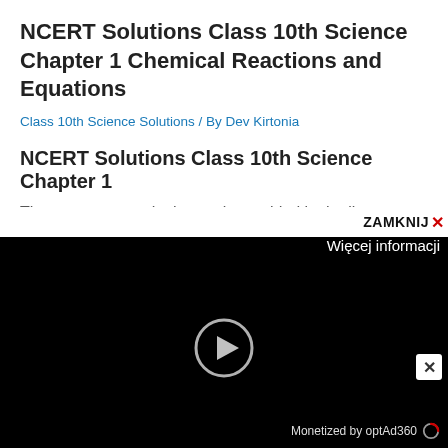NCERT Solutions Class 10th Science Chapter 1 Chemical Reactions and Equations
Class 10th Science Solutions / By Dev Kirtonia
NCERT Solutions Class 10th Science Chapter 1
The answer to each chapter is provided in the list
[Figure (screenshot): Video advertisement overlay with ZAMKNIJ X close button, Więcej informacji label, black video player with play button, and Monetized by optAd360 label at bottom right.]